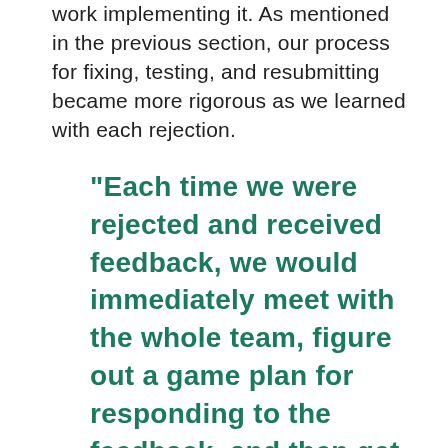work implementing it. As mentioned in the previous section, our process for fixing, testing, and resubmitting became more rigorous as we learned with each rejection.
"Each time we were rejected and received feedback, we would immediately meet with the whole team, figure out a game plan for responding to the feedback, and then get to work implementing it."